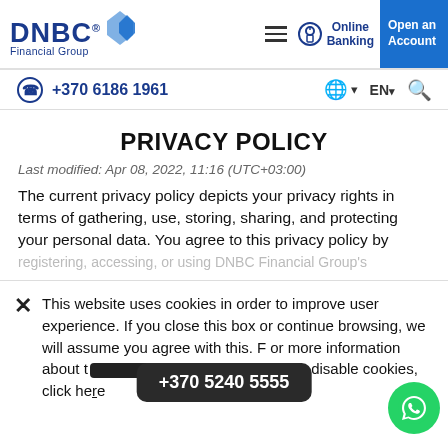DNBC Financial Group | Online Banking | Open an Account | +370 6186 1961 | EN
PRIVACY POLICY
Last modified: Apr 08, 2022, 11:16 (UTC+03:00)
The current privacy policy depicts your privacy rights in terms of gathering, use, storing, sharing, and protecting your personal data. You agree to this privacy policy by registering, accessing, or using DNBC Financial Group's
This website uses cookies in order to improve user experience. If you close this box or continue browsing, we will assume you agree with this. For more information about the cookies we use or to find out how you can disable cookies, click here
+370 5240 5555